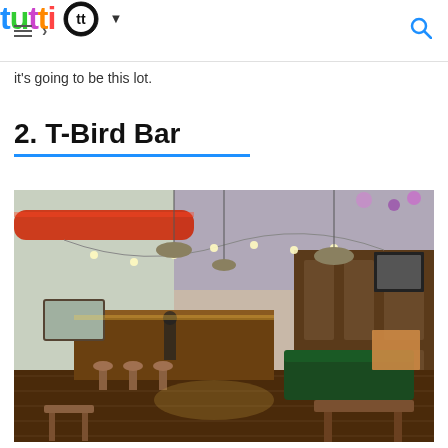tutti [logo with icon]
it's going to be this lot.
2. T-Bird Bar
[Figure (photo): Interior photo of T-Bird Bar showing a long bar space with pendant lights strung across the ceiling, floral decorations hanging from above, red ducting along the left wall, a wood bar counter, bar stools, dark wood paneling on the right, green leather sofa seating, and wooden floorboards throughout.]